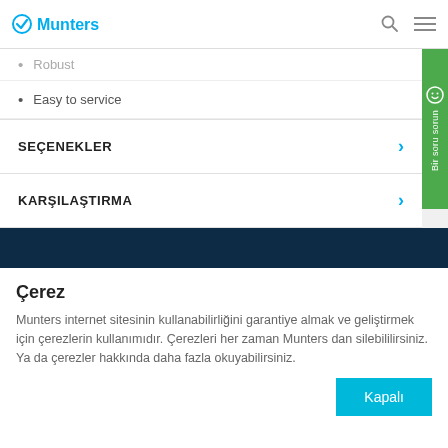Munters
Robust
Easy to service
SEÇENEKLER
KARŞILAŞTIRMA
Çerez
Munters internet sitesinin kullanabilirliğini garantiye almak ve geliştirmek için çerezlerin kullanımıdır. Çerezleri her zaman Munters dan silebililirsiniz. Ya da çerezler hakkında daha fazla okuyabilirsiniz.
Kapalı